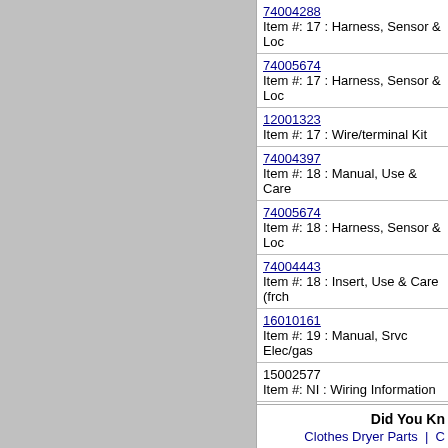| Part Number | Description |
| --- | --- |
| 74004288 (link, cut off) | Item #: 17 : Harness, Sensor & Loc… |
| 74005674 | Item #: 17 : Harness, Sensor & Loc… |
| 12001323 | Item #: 17 : Wire/terminal Kit |
| 74004397 | Item #: 18 : Manual, Use & Care |
| 74005674 | Item #: 18 : Harness, Sensor & Loc… |
| 74004443 | Item #: 18 : Insert, Use & Care (frch… |
| 16010161 | Item #: 19 : Manual, Srvc Elec/gas |
| 15002577 | Item #: NI : Wiring Information |
Did You Kn…
Clothes Dryer Parts | …
Oven / Range / …